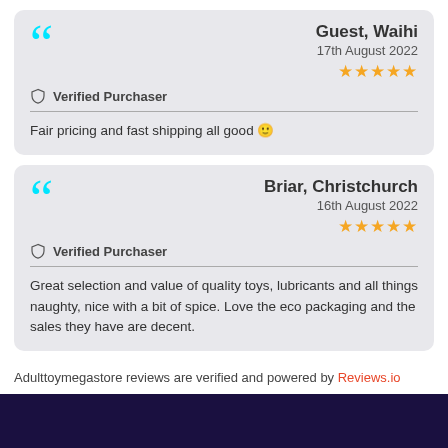Guest, Waihi
17th August 2022
★★★★★
Verified Purchaser
Fair pricing and fast shipping all good 🙂
Briar, Christchurch
16th August 2022
★★★★★
Verified Purchaser
Great selection and value of quality toys, lubricants and all things naughty, nice with a bit of spice. Love the eco packaging and the sales they have are decent.
Adulttoymegastore reviews are verified and powered by Reviews.io